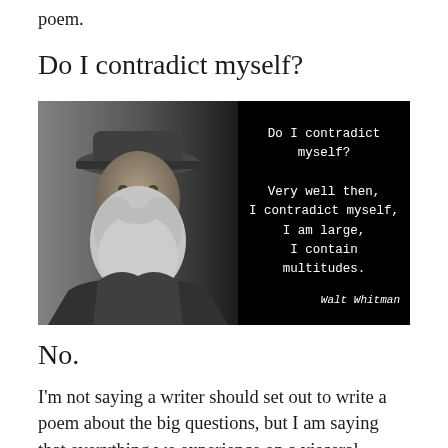poem.
Do I contradict myself?
[Figure (photo): Black and white photo of Walt Whitman (elderly man with large white beard and wide-brimmed hat) on the left half, black background on the right with quote text: 'Do I contradict myself? Very well then, I contradict myself, I am large, I contain multitudes.' — Walt Whitman]
No.
I'm not saying a writer should set out to write a poem about the big questions, but I am saying that everything we experience on a visceral